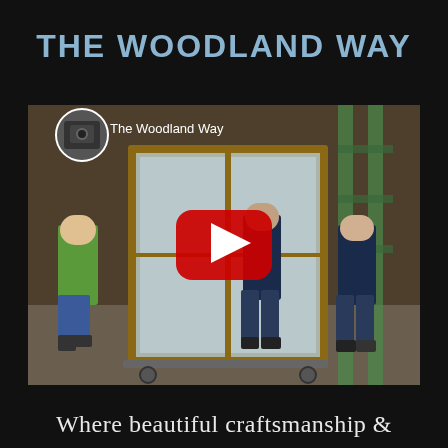THE WOODLAND WAY
[Figure (screenshot): YouTube video thumbnail showing three workers in a warehouse carrying a large framed window/door unit on a dolly. A circular profile image of a camera is visible in the top-left of the thumbnail. Text 'The Woodland Way' appears on the thumbnail. A red YouTube play button is shown in the center of the thumbnail.]
Where beautiful craftsmanship &